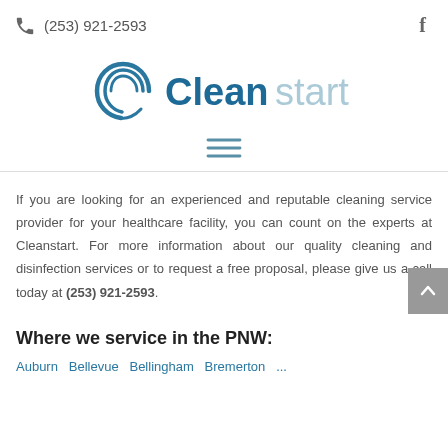(253) 921-2593  f
[Figure (logo): Cleanstart logo with swirl graphic and two-tone text: 'Clean' in dark teal, 'start' in light gray-blue]
[Figure (other): Hamburger menu icon (three horizontal lines)]
If you are looking for an experienced and reputable cleaning service provider for your healthcare facility, you can count on the experts at Cleanstart. For more information about our quality cleaning and disinfection services or to request a free proposal, please give us a call today at (253) 921-2593.
Where we service in the PNW: